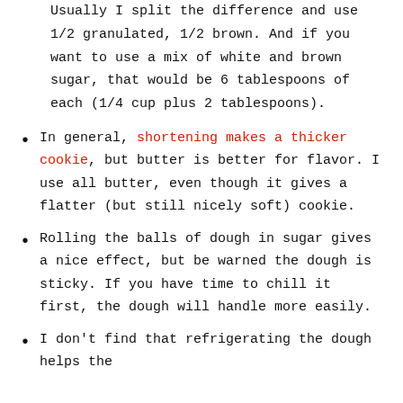Usually I split the difference and use 1/2 granulated, 1/2 brown. And if you want to use a mix of white and brown sugar, that would be 6 tablespoons of each (1/4 cup plus 2 tablespoons).
In general, shortening makes a thicker cookie, but butter is better for flavor. I use all butter, even though it gives a flatter (but still nicely soft) cookie.
Rolling the balls of dough in sugar gives a nice effect, but be warned the dough is sticky. If you have time to chill it first, the dough will handle more easily.
I don't find that refrigerating the dough helps the